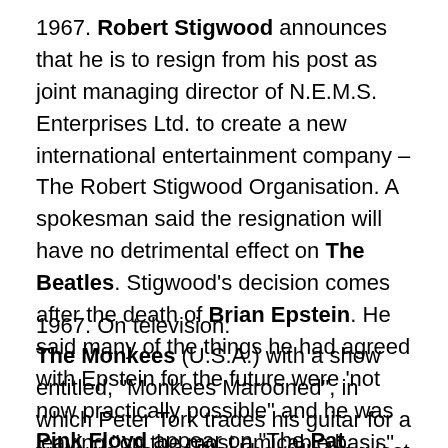1967. Robert Stigwood announces that he is to resign from his post as joint managing director of N.E.M.S. Enterprises Ltd. to create a new international entertainment company – The Robert Stigwood Organisation. A spokesman said the resignation will have no detrimental effect on The Beatles. Stigwood's decision comes after the death of Brian Epstein. He said many of the things he had agreed with Epstein for the future were 'not now practically possible" and he was leaving "on the most amicable basis".
1967. On television:
The Monkees (U.S.A.) with a show entitled, “Monkees Marooned”, in which Peter Tork trades his guitar for a treasure map of Blackbeard’s long lost booty.
Pink Floyd appear on “The Pat Boone Show” whilst on